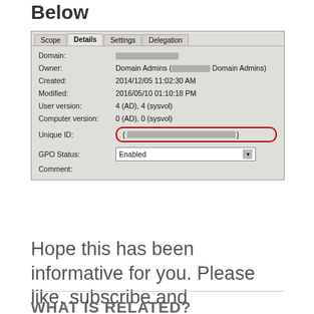Below
[Figure (screenshot): Windows GPO Details tab showing Domain, Owner (Domain Admins), Created 2014/12/05 11:02:30 AM, Modified 2016/05/10 01:10:18 PM, User version: 4 (AD), 4 (sysvol), Computer version: 0 (AD), 0 (sysvol), Unique ID (highlighted in red circle), GPO Status: Enabled, Comment field. The Unique ID field is circled in red.]
Hope this has been informative for you. Please like, subscribe and comment.
WHAT IS RELATED?